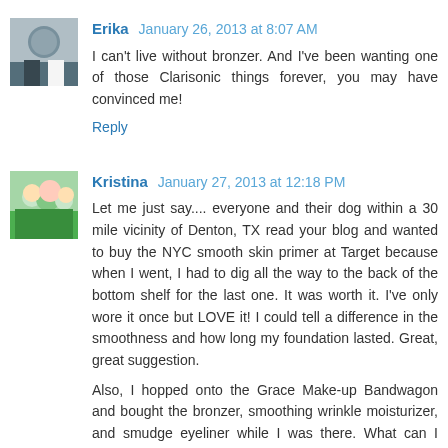[Figure (photo): Avatar photo of Erika - couple in formal wear]
Erika  January 26, 2013 at 8:07 AM
I can't live without bronzer. And I've been wanting one of those Clarisonic things forever, you may have convinced me!
Reply
[Figure (photo): Avatar photo of Kristina - family outdoors]
Kristina  January 27, 2013 at 12:18 PM
Let me just say.... everyone and their dog within a 30 mile vicinity of Denton, TX read your blog and wanted to buy the NYC smooth skin primer at Target because when I went, I had to dig all the way to the back of the bottom shelf for the last one. It was worth it. I've only wore it once but LOVE it! I could tell a difference in the smoothness and how long my foundation lasted. Great, great suggestion.
Also, I hopped onto the Grace Make-up Bandwagon and bought the bronzer, smoothing wrinkle moisturizer, and smudge eyeliner while I was there. What can I say? My